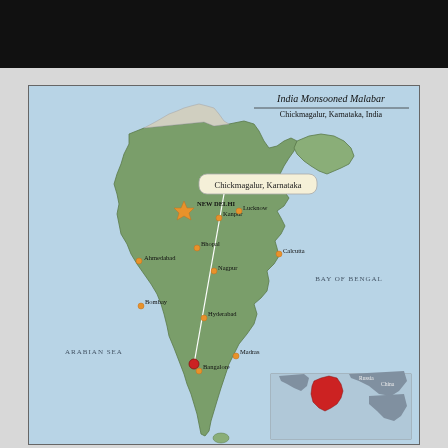[Figure (map): Map of India showing location of Chickmagalur, Karnataka highlighted with a pointer line from a callout bubble. Major cities shown with orange circle markers: New Delhi (star), Kanpur, Lucknow, Ahmedabad, Bhopal, Nagpur, Calcutta, Bombay, Hyderabad, Bangalore, Madras. Chickmagalur marked with a red dot. Arabian Sea labeled on the left, Bay of Bengal on the right. An inset world-region map shown in the lower right corner with India highlighted in red. Map title reads 'India Monsooned Malabar' / 'Chickmagalur, Karnataka, India'.]